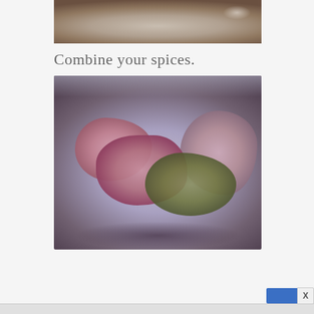[Figure (photo): Top portion of a stainless steel mixing bowl with spices/ingredients, partially visible at top of page]
Combine your spices.
[Figure (photo): A stainless steel mixing bowl containing raw ground meat chunks and dried herbs/spices]